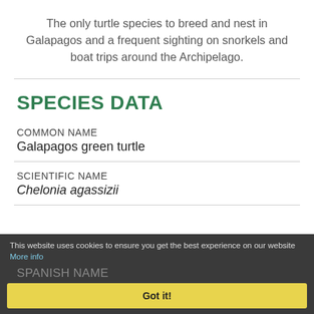The only turtle species to breed and nest in Galapagos and a frequent sighting on snorkels and boat trips around the Archipelago.
SPECIES DATA
COMMON NAME
Galapagos green turtle
SCIENTIFIC NAME
Chelonia agassizii
SPANISH NAME
Tortuga prieta
This website uses cookies to ensure you get the best experience on our website More info
Got it!